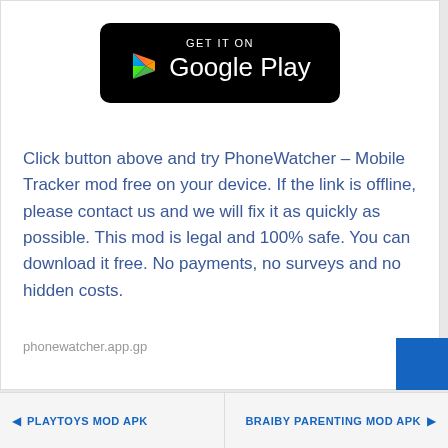[Figure (logo): GET IT ON Google Play button — black rounded rectangle with Google Play logo (colorful triangle) and white text]
Click button above and try PhoneWatcher – Mobile Tracker mod free on your device. If the link is offline, please contact us and we will fix it as quickly as possible. This mod is legal and 100% safe. You can download it free. No payments, no surveys and no hidden costs.
phonewatcher.app.gp
PLAYTOYS MOD APK   BRAIBY PARENTING MOD APK